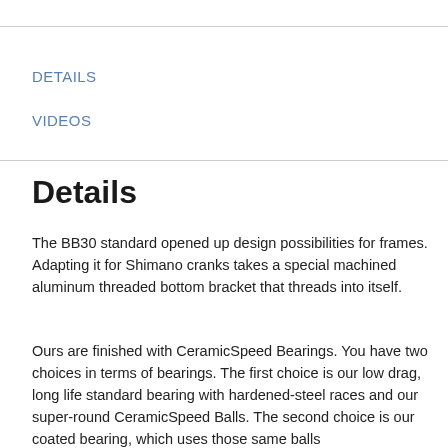DETAILS
VIDEOS
Details
The BB30 standard opened up design possibilities for frames. Adapting it for Shimano cranks takes a special machined aluminum threaded bottom bracket that threads into itself.
Ours are finished with CeramicSpeed Bearings. You have two choices in terms of bearings. The first choice is our low drag, long life standard bearing with hardened-steel races and our super-round CeramicSpeed Balls. The second choice is our coated bearing, which uses those same balls